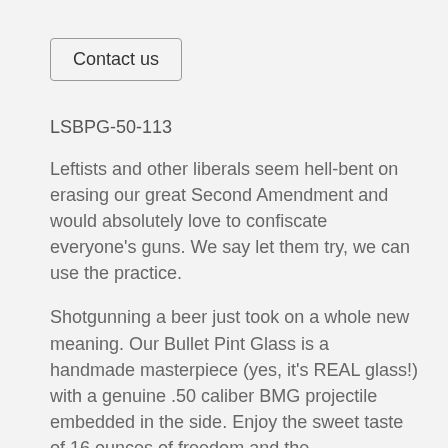Contact us
LSBPG-50-113
Leftists and other liberals seem hell-bent on erasing our great Second Amendment and would absolutely love to confiscate everyone's guns. We say let them try, we can use the practice.
Shotgunning a beer just took on a whole new meaning. Our Bullet Pint Glass is a handmade masterpiece (yes, it's REAL glass!) with a genuine .50 caliber BMG projectile embedded in the side. Enjoy the sweet taste of 16 ounces of freedom and the conversations that are sure to follow when you raise a toast with this bar showpiece!